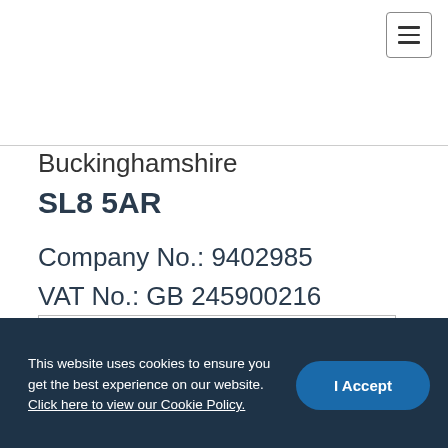[Figure (other): Hamburger menu button icon in top-right corner]
Buckinghamshire
SL8 5AR
Company No.: 9402985
VAT No.: GB 245900216
[Figure (photo): Broken image placeholder box]
This website uses cookies to ensure you get the best experience on our website. Click here to view our Cookie Policy.